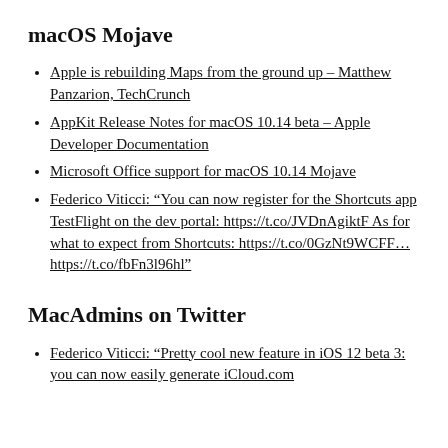macOS Mojave
Apple is rebuilding Maps from the ground up – Matthew Panzarion, TechCrunch
AppKit Release Notes for macOS 10.14 beta – Apple Developer Documentation
Microsoft Office support for macOS 10.14 Mojave
Federico Viticci: “You can now register for the Shortcuts app TestFlight on the dev portal: https://t.co/JVDnAgiktF As for what to expect from Shortcuts: https://t.co/0GzNt9WCFF… https://t.co/fbFn3l96hl”
MacAdmins on Twitter
Federico Viticci: “Pretty cool new feature in iOS 12 beta 3: you can now easily generate iCloud.com